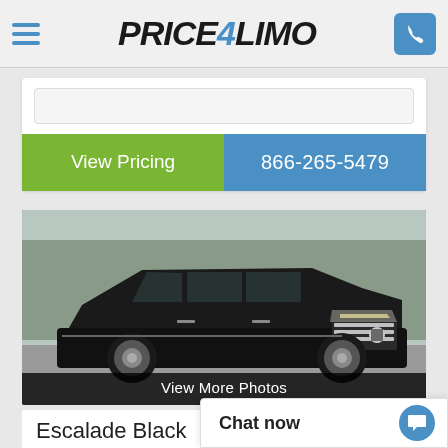[Figure (logo): Price4Limo logo with hamburger menu icon on left and phone button on right in the header bar]
[Figure (screenshot): Search/input bar inside white card]
View Pricing
866-265-5479
[Figure (photo): Black Cadillac Escalade SUV parked outdoors with bare winter trees in background]
View More Photos
Escalade Black
Chat now